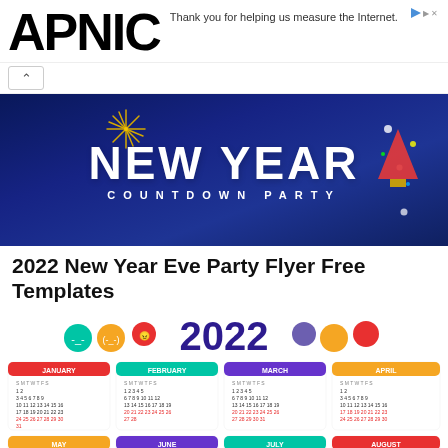APNIC
Thank you for helping us measure the Internet.
[Figure (illustration): New Year Countdown Party banner with dark blue background, large white bold text 'NEW YEAR' and subtitle 'COUNTDOWN PARTY' with colorful confetti and decorations]
2022 New Year Eve Party Flyer Free Templates
[Figure (illustration): 2022 calendar with colorful cartoon emoji faces, showing months January through August and partial September-December row, with colored month headers (red for January, teal for February, purple for March, orange for April, orange for May, purple for June, teal for July, red for August)]